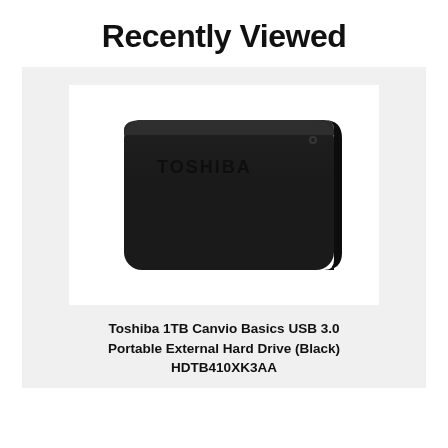Recently Viewed
[Figure (photo): Toshiba 1TB Canvio Basics USB 3.0 Portable External Hard Drive in black, shown at a slight angle. The device is a slim, rectangular black hard drive with rounded corners and the TOSHIBA logo embossed on the top surface. A small LED indicator dot is visible on the top-right corner.]
Toshiba 1TB Canvio Basics USB 3.0 Portable External Hard Drive (Black) HDTB410XK3AA